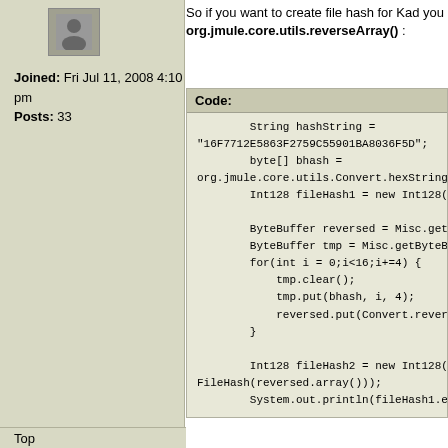[Figure (illustration): User avatar icon showing a generic person silhouette in a grey box]
Joined: Fri Jul 11, 2008 4:10 pm
Posts: 33
So if you want to create file hash for Kad you org.jmule.core.utils.reverseArray() :
Code:
        String hashString =
"16F7712E5863F2759C55901BA8036F5D";
        byte[] bhash =
org.jmule.core.utils.Convert.hexString
        Int128 fileHash1 = new Int128(bh

        ByteBuffer reversed = Misc.getBy
        ByteBuffer tmp = Misc.getByteBuf
        for(int i = 0;i<16;i+=4) {
            tmp.clear();
            tmp.put(bhash, i, 4);
            reversed.put(Convert.reverseA
        }

        Int128 fileHash2 = new Int128(ne
FileHash(reversed.array()));
        System.out.println(fileHash1.equ
Top